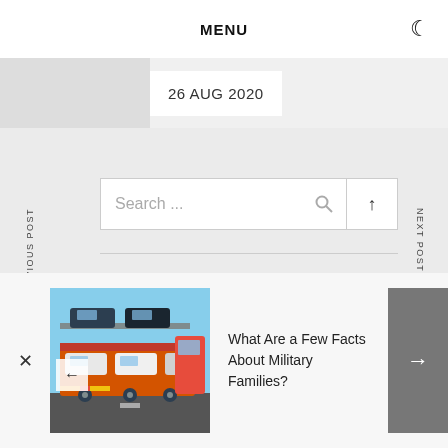MENU
26 AUG 2020
Search ...
TE MAIL
PREVIOUS POST
NEXT POST
right © 2020 Ideas Next Door. All Rights Reserved
ne: Infinity News by Themeinwp.
[Figure (photo): Cars loaded on a car transport truck/trailer on a road]
What Are a Few Facts About Military Families?